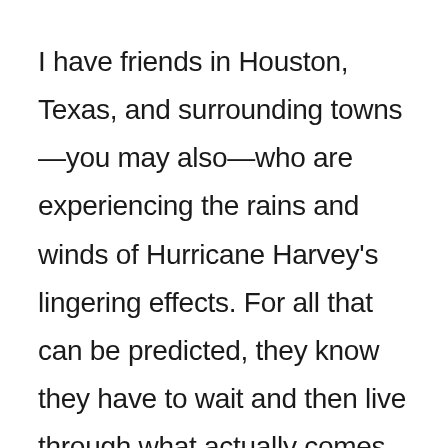I have friends in Houston, Texas, and surrounding towns—you may also—who are experiencing the rains and winds of Hurricane Harvey's lingering effects. For all that can be predicted, they know they have to wait and then live through what actually comes. And that's hard. At the same time, all other challenging matters of life haven't evaporated. For the moment,